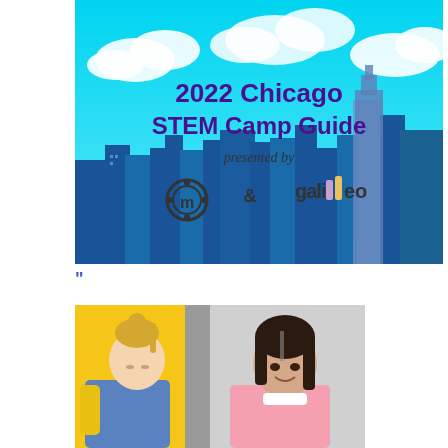[Figure (illustration): 2022 Chicago STEM Camp Guide cover image. Blue sky with clouds background, Chicago city skyline (blue-tinted buildings). Text at top: '2022 Chicago STEM Camp Guide', 'presented by', with logos for 'makerdad' (gear/m logo) and 'galileo' side by side.]
"
[Figure (photo): Two young girls working/studying. Left girl has blonde hair in ponytail, wearing yellow sweater and denim overalls, looking down. Right girl has dark hair, wearing pink top, smiling. Yellow and gray background.]